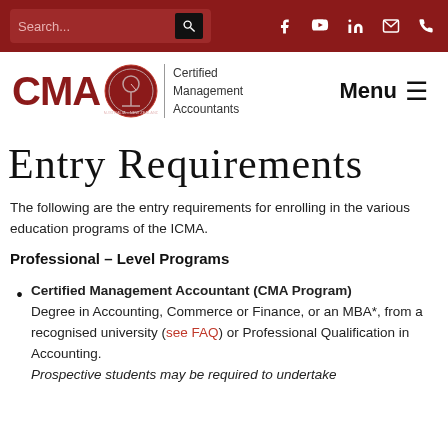Search... [search icon] [facebook] [youtube] [linkedin] [email] [phone]
[Figure (logo): CMA logo with circular emblem and text 'Certified Management Accountants Australia - New Zealand', plus Menu button]
Entry Requirements
The following are the entry requirements for enrolling in the various education programs of the ICMA.
Professional – Level Programs
Certified Management Accountant (CMA Program) Degree in Accounting, Commerce or Finance, or an MBA*, from a recognised university (see FAQ) or Professional Qualification in Accounting. Prospective students may be required to undertake